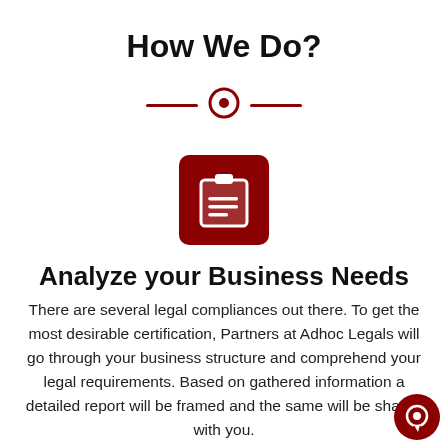How We Do?
[Figure (infographic): Red horizontal divider with a circle target icon in the center]
[Figure (illustration): Red rounded square icon containing a white clipboard with checklist lines]
Analyze your Business Needs
There are several legal compliances out there. To get the most desirable certification, Partners at Adhoc Legals will go through your business structure and comprehend your legal requirements. Based on gathered information a detailed report will be framed and the same will be shared with you.